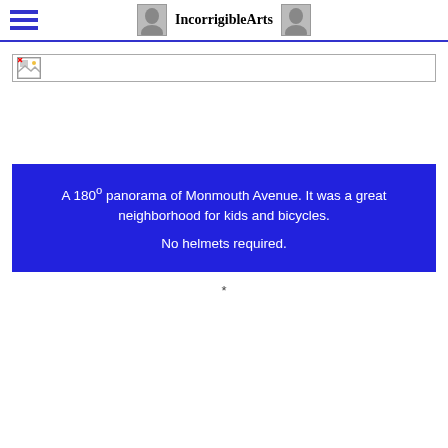IncorrigibleArts
[Figure (photo): Broken image placeholder in a bordered box]
A 180° panorama of Monmouth Avenue. It was a great neighborhood for kids and bicycles.
No helmets required.
*